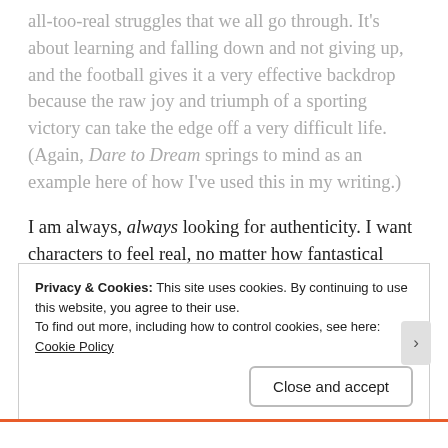all-too-real struggles that we all go through. It's about learning and falling down and not giving up, and the football gives it a very effective backdrop because the raw joy and triumph of a sporting victory can take the edge off a very difficult life. (Again, Dare to Dream springs to mind as an example here of how I've used this in my writing.)
I am always, always looking for authenticity. I want characters to feel real, no matter how fantastical their setting. This show, more than any other, represented a true cross-section of life and showed us just how hard
Privacy & Cookies: This site uses cookies. By continuing to use this website, you agree to their use.
To find out more, including how to control cookies, see here: Cookie Policy